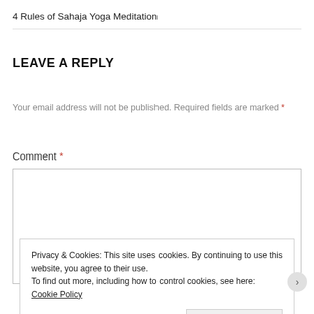4 Rules of Sahaja Yoga Meditation
LEAVE A REPLY
Your email address will not be published. Required fields are marked *
Comment *
Privacy & Cookies: This site uses cookies. By continuing to use this website, you agree to their use.
To find out more, including how to control cookies, see here: Cookie Policy
Close and accept